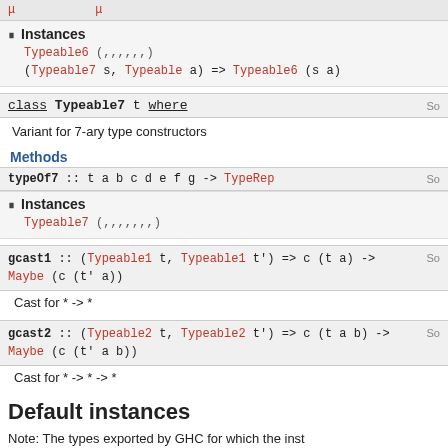(clipped top bar content)
Instances
Typeable6 (,,,,,,)
(Typeable7 s, Typeable a) => Typeable6 (s a)
class Typeable7 t where
Variant for 7-ary type constructors
Methods
typeOf7 :: t a b c d e f g -> TypeRep
Instances
Typeable7 (,,,,,,,)
gcast1 :: (Typeable1 t, Typeable1 t') => c (t a) -> Maybe (c (t' a))
Cast for * -> *
gcast2 :: (Typeable2 t, Typeable2 t') => c (t a b) -> Maybe (c (t' a b))
Cast for * -> * -> *
Default instances
Note: The types exported by GHC for which the inst...